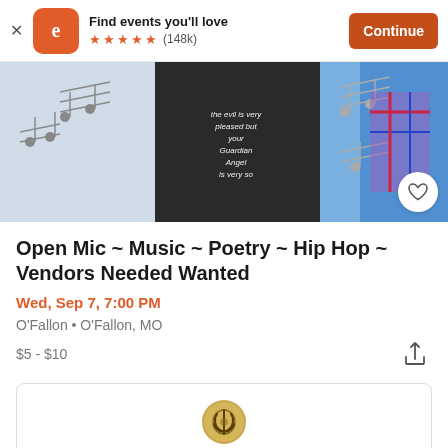Find events you'll love ★★★★★ (148k) Continue
[Figure (photo): Event banner image showing people at a music/poetry event with musical note graphics overlay, against a light blue background]
Open Mic ~ Music ~ Poetry ~ Hip Hop ~ Vendors Needed Wanted
Wed, Sep 7, 7:00 PM
O'Fallon • O'Fallon, MO
$5 - $10
[Figure (logo): Circular gold/bronze logo with knot-like design inside a white card at the bottom of the page]